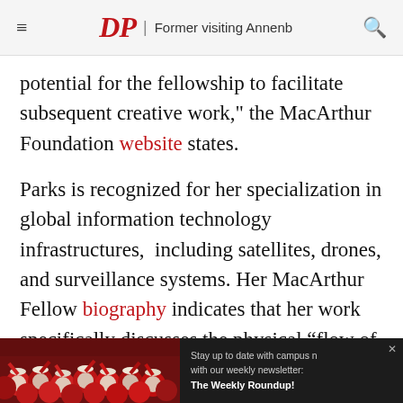DP | Former visiting Annenb
potential for the fellowship to facilitate subsequent creative work," the MacArthur Foundation website states.
Parks is recognized for her specialization in global information technology infrastructures, including satellites, drones, and surveillance systems. Her MacArthur Fellow biography indicates that her work specifically discusses the physical “flow of information and the multilayered relationships between media,
[Figure (photo): Advertisement banner with crowd of people in red shirts and newsletter signup text reading: Stay up to date with campus news with our weekly newsletter: The Weekly Roundup!]